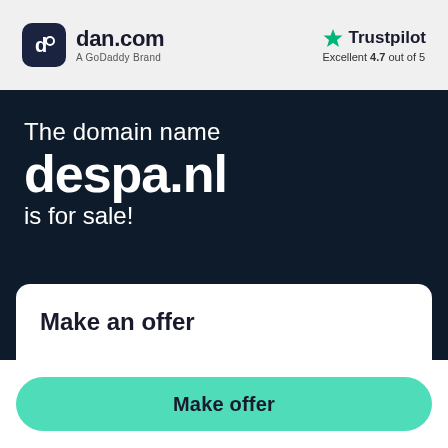[Figure (logo): dan.com logo with dark rounded square icon and text 'dan.com' with subtitle 'A GoDaddy Brand']
[Figure (logo): Trustpilot logo with green star and text 'Trustpilot', rating 'Excellent 4.7 out of 5']
The domain name despa.nl is for sale!
Make an offer
Make offer